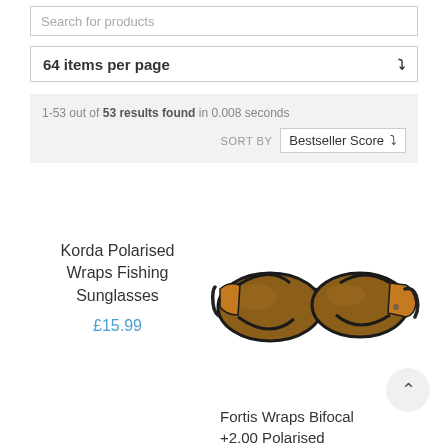Search for products
64 items per page
1-53 out of 53 results found in 0.008 seconds
SORT BY  Bestseller Score
Korda Polarised Wraps Fishing Sunglasses
£15.99
[Figure (photo): Brown-lensed wrap-around fishing sunglasses with dark frames, Korda branded]
Fortis Wraps Bifocal +2.00 Polarised